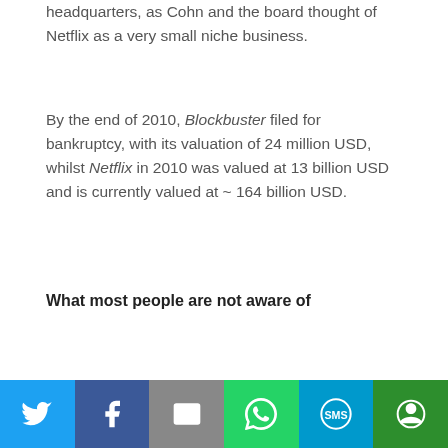headquarters, as Cohn and the board thought of Netflix as a very small niche business.
By the end of 2010, Blockbuster filed for bankruptcy, with its valuation of 24 million USD, whilst Netflix in 2010 was valued at 13 billion USD and is currently valued at ~ 164 billion USD.
What most people are not aware of
[Figure (other): Social share bar with Twitter, Facebook, Email, WhatsApp, SMS, and More buttons]